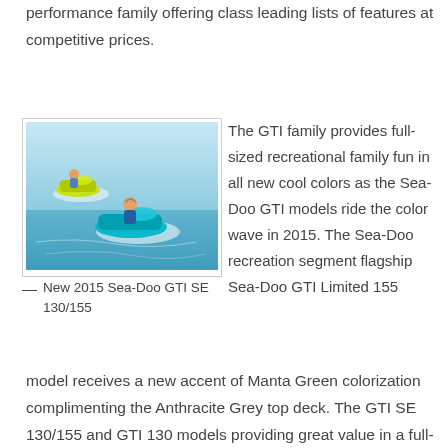performance family offering class leading lists of features at competitive prices.
[Figure (photo): Two people riding Sea-Doo GTI jet skis on water, one yellow-green and one blue-green colored.]
— New 2015 Sea-Doo GTI SE 130/155
The GTI family provides full-sized recreational family fun in all new cool colors as the Sea-Doo GTI models ride the color wave in 2015. The Sea-Doo recreation segment flagship Sea-Doo GTI Limited 155 model receives a new accent of Manta Green colorization complimenting the Anthracite Grey top deck. The GTI SE 130/155 and GTI 130 models providing great value in a full-sized watercraft platform and featuring the first on-water braking system in the segment with iBR join the GTI Limited 155 model. For 2015, the GTI SE 130/155 comes with four all-new